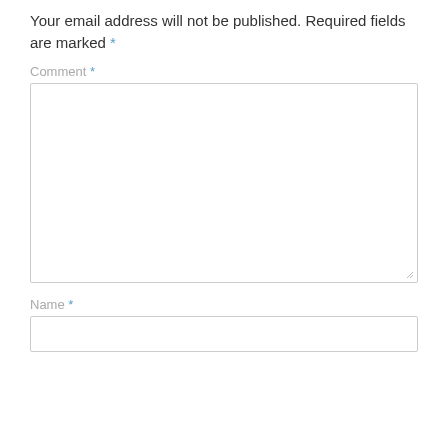Your email address will not be published. Required fields are marked *
Comment *
[Figure (other): Empty comment textarea input field with resize handle]
Name *
[Figure (other): Empty name text input field]